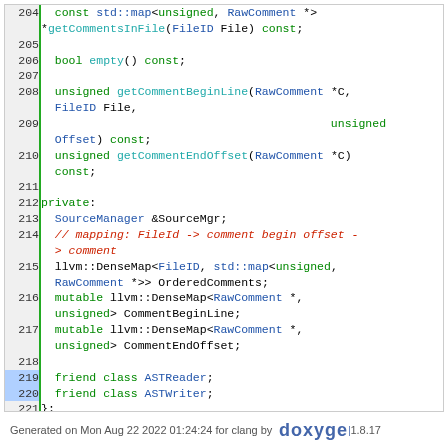[Figure (screenshot): Source code listing (C++ header file) with syntax highlighting, line numbers 204-225. Shows class methods getCommentsInFile, empty, getCommentBeginLine, getCommentEndOffset, private members SourceMgr, OrderedComments, CommentBeginLine, CommentEndOffset, friend declarations, closing brace, end namespace clang, #endif.]
Generated on Mon Aug 22 2022 01:24:24 for clang by doxygen 1.8.17